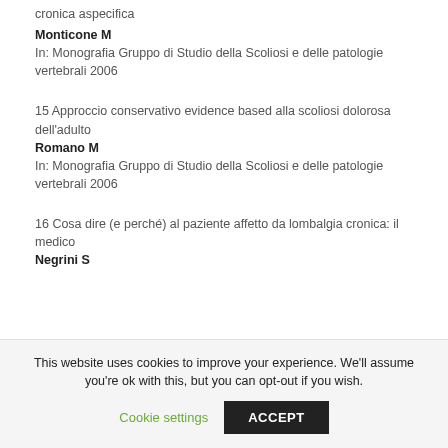cronica aspecifica
Monticone M
In: Monografia Gruppo di Studio della Scoliosi e delle patologie vertebrali 2006
15 Approccio conservativo evidence based alla scoliosi dolorosa dell'adulto
Romano M
In: Monografia Gruppo di Studio della Scoliosi e delle patologie vertebrali 2006
16 Cosa dire (e perché) al paziente affetto da lombalgia cronica: il medico
Negrini S
This website uses cookies to improve your experience. We'll assume you're ok with this, but you can opt-out if you wish.